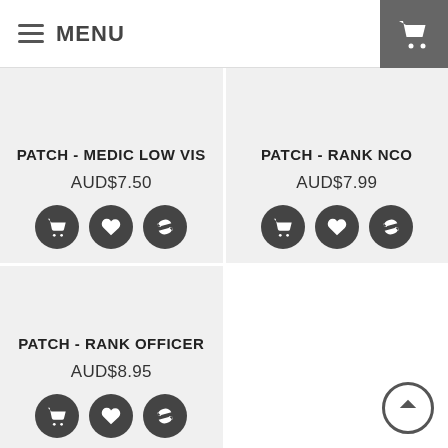MENU
PATCH - MEDIC LOW VIS
AUD$7.50
PATCH - RANK NCO
AUD$7.99
PATCH - RANK OFFICER
AUD$8.95